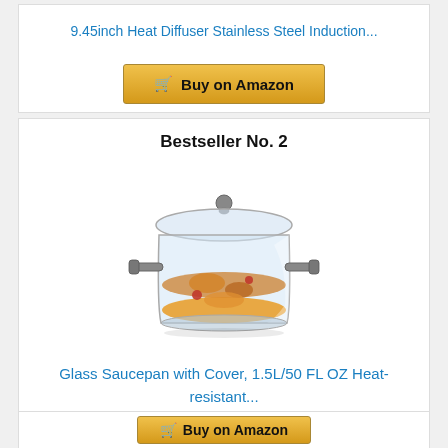9.45inch Heat Diffuser Stainless Steel Induction...
Buy on Amazon
Bestseller No. 2
[Figure (photo): Glass saucepan with a transparent body showing food inside, a glass lid with a round knob handle, and two short side handles. The pot contains what appears to be soup or stew with orange/amber liquid and visible ingredients.]
Glass Saucepan with Cover, 1.5L/50 FL OZ Heat-resistant...
Buy on Amazon